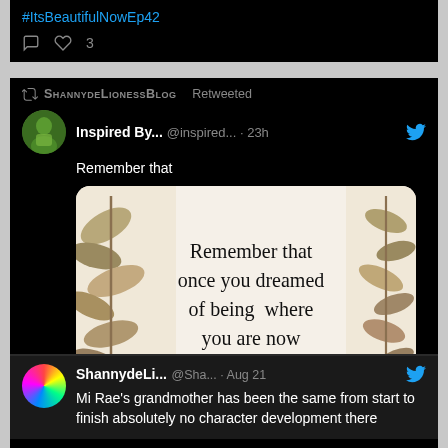#ItsBeautifulNowEp42
♡ 3
ShannydeLionessBlog Retweeted
Inspired By... @inspired... · 23h
Remember that
[Figure (photo): Motivational quote card with leaves border: 'Remember that once you dreamed of being where you are now']
♡ 5
ShannydeLi... @Sha... · Aug 21
Mi Rae's grandmother has been the same from start to finish absolutely no character development there